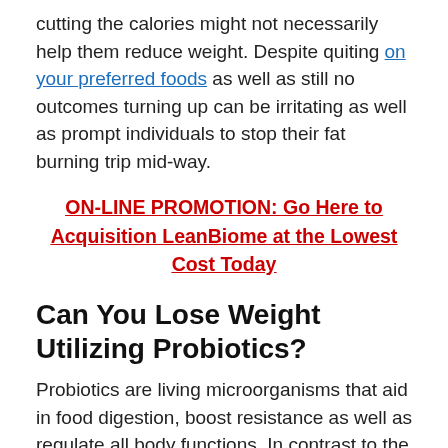cutting the calories might not necessarily help them reduce weight. Despite quiting on your preferred foods as well as still no outcomes turning up can be irritating as well as prompt individuals to stop their fat burning trip mid-way.
ON-LINE PROMOTION: Go Here to Acquisition LeanBiome at the Lowest Cost Today
Can You Lose Weight Utilizing Probiotics?
Probiotics are living microorganisms that aid in food digestion, boost resistance as well as regulate all body functions. In contrast to the